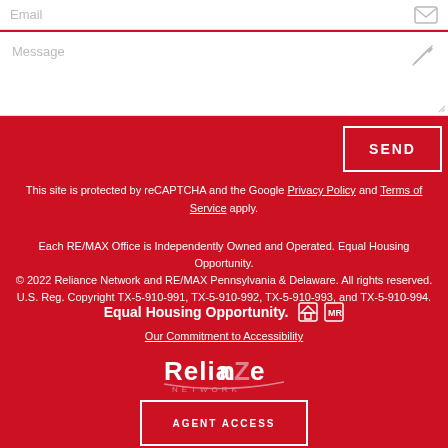Message
SEND
This site is protected by reCAPTCHA and the Google Privacy Policy and Terms of Service apply.
Each RE/MAX Office is Independently Owned and Operated. Equal Housing Opportunity.
© 2022 Reliance Network and RE/MAX Pennsylvania & Delaware. All rights reserved. U.S. Reg. Copyright TX-5-910-991, TX-5-910-992, TX-5-910-993, and TX-5-910-994.
Equal Housing Opportunity.
Our Commitment to Accessibility
[Figure (logo): Reliance Network logo in white/pink on red background]
AGENT ACCESS